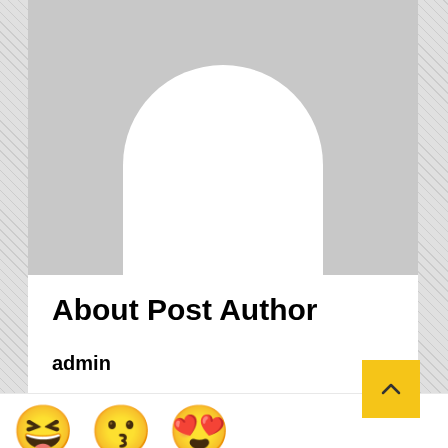[Figure (illustration): Gray placeholder avatar with white arch/silhouette shape on gray background]
About Post Author
admin
eunewz24@gmail.com
https://www.eunews24.com
[Figure (illustration): Three emoji faces: laughing face, kissing face, and heart-eyes face]
[Figure (other): Yellow scroll-to-top button with upward chevron arrow]